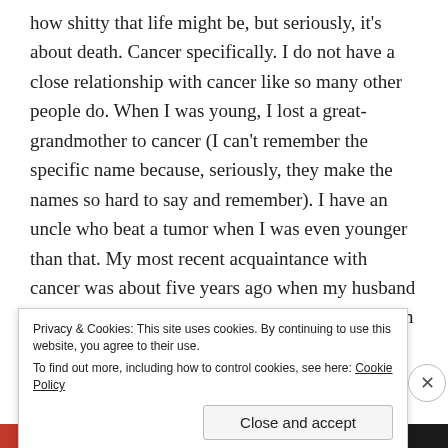how shitty that life might be, but seriously, it's about death. Cancer specifically. I do not have a close relationship with cancer like so many other people do. When I was young, I lost a great-grandmother to cancer (I can't remember the specific name because, seriously, they make the names so hard to say and remember). I have an uncle who beat a tumor when I was even younger than that. My most recent acquaintance with cancer was about five years ago when my husband lost his uncle to pancreatic cancer that he got from being exposed to Agent Orange back in Vietnam. Man, cancer
Privacy & Cookies: This site uses cookies. By continuing to use this website, you agree to their use.
To find out more, including how to control cookies, see here: Cookie Policy
Close and accept
Advertisements